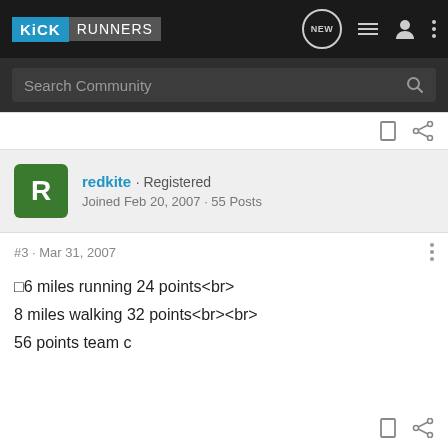KiCK RUNNERS — navigation bar with NEW, list, person, and dots icons
Search Community
redkite · Registered
Joined Feb 20, 2007 · 55 Posts
#3 · Mar 31, 2007
□6 miles running 24 points<br>
8 miles walking 32 points<br><br>
56 points team c